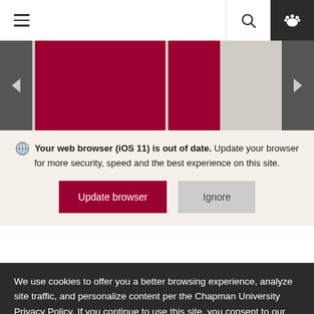Navigation bar with hamburger menu, search icon, and paw icon
[Figure (screenshot): Image slider with red/crimson blocks, left and right navigation arrows]
Your web browser (iOS 11) is out of date. Update your browser for more security, speed and the best experience on this site.
Update browser | Ignore
Tabula Poetica
Join us for live streaming of all
We use cookies to offer you a better browsing experience, analyze site traffic, and personalize content per the Chapman University Privacy Policy. If you continue to use this site, you consent to our use of cookies. Privacy Policy